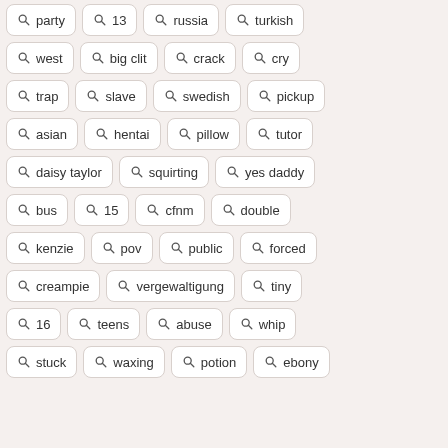party
13
russia
turkish
west
big clit
crack
cry
trap
slave
swedish
pickup
asian
hentai
pillow
tutor
daisy taylor
squirting
yes daddy
bus
15
cfnm
double
kenzie
pov
public
forced
creampie
vergewaltigung
tiny
16
teens
abuse
whip
stuck
waxing
potion
ebony